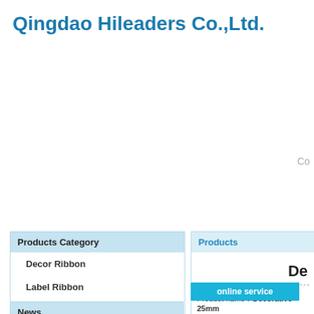Qingdao Hileaders Co.,Ltd.
Co
Products Category
Decor Ribbon
Label Ribbon
Feather
News
Products
De
Product name：Decorative 25mm
Item：SR3
Details：
online service